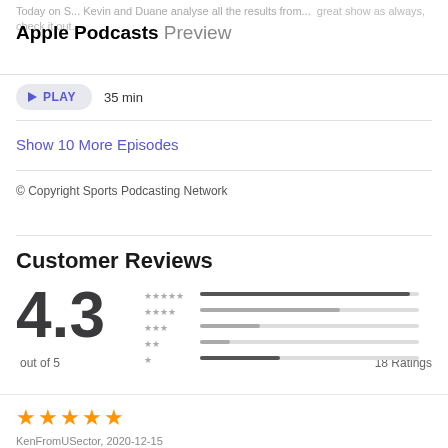Today on S... Kevin and Duane analyse all the results from... great show as always, check it out...
Apple Podcasts Preview
PLAY  35 min
Show 10 More Episodes
© Copyright Sports Podcasting Network
Customer Reviews
4.3 out of 5  18 Ratings
★★★★★  KenFromUSector, 2020-12-15
Thi... #THE Most...